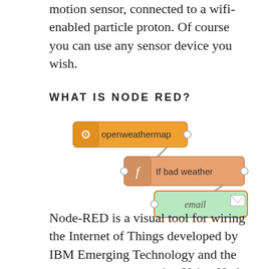motion sensor, connected to a wifi-enabled particle proton. Of course you can use any sensor device you wish.
WHAT IS NODE RED?
[Figure (flowchart): Node-RED flow diagram showing three connected nodes: an 'openweathermap' input node (yellow/orange with gear icon), connected by a curved wire to an 'If bad weather' function node (orange with f icon), which connects by a curved wire to an 'email' output node (green with envelope icon). Nodes are connected by flowing S-curved grey lines.]
Node-RED is a visual tool for wiring the Internet of Things developed by IBM Emerging Technology and the open source community. Using Node-RED, developers wire up input,